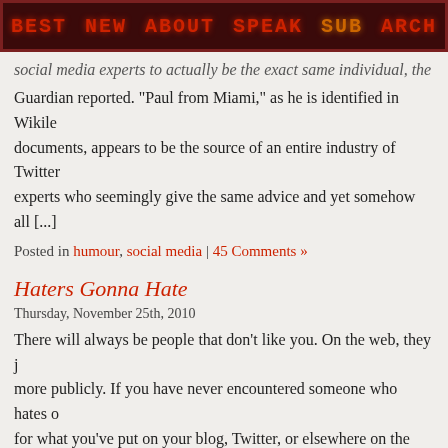BEST  NEW  ABOUT  SPEAK  SUB  ARCH
social media experts to actually be the exact same individual, the Guardian reported. "Paul from Miami," as he is identified in Wikile documents, appears to be the source of an entire industry of Twitter experts who seemingly give the same advice and yet somehow all [...]
Posted in humour, social media | 45 Comments »
Haters Gonna Hate
Thursday, November 25th, 2010
There will always be people that don't like you. On the web, they j more publicly. If you have never encountered someone who hates o for what you've put on your blog, Twitter, or elsewhere on the inter trust me, that time will come. It will not be long before someone co [...]
Posted in social media | 14 Comments »